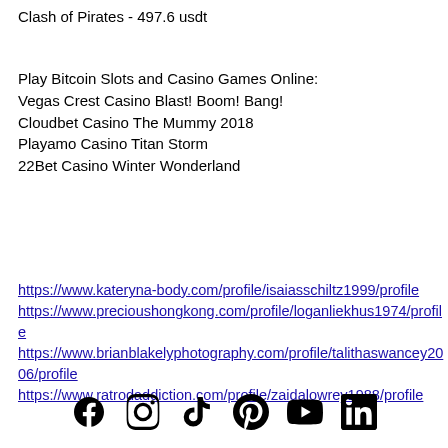Clash of Pirates - 497.6 usdt
Play Bitcoin Slots and Casino Games Online:
Vegas Crest Casino Blast! Boom! Bang!
Cloudbet Casino The Mummy 2018
Playamo Casino Titan Storm
22Bet Casino Winter Wonderland
https://www.kateryna-body.com/profile/isaiasschiltz1999/profile
https://www.precioushongkong.com/profile/loganliekhus1974/profile
https://www.brianblakelyphotography.com/profile/talithaswancey2006/profile
https://www.ratrodaddiction.com/profile/zaidalowrey1988/profile
[Figure (infographic): Social media icons row: Facebook, Instagram, TikTok, Pinterest, YouTube, LinkedIn]